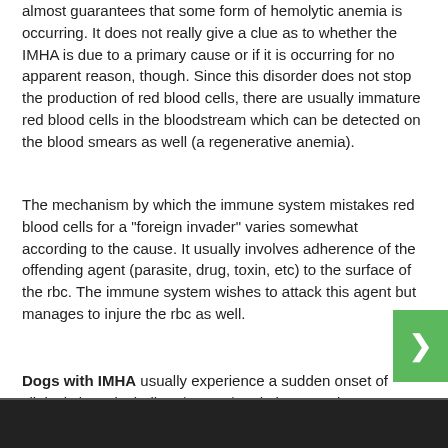almost guarantees that some form of hemolytic anemia is occurring. It does not really give a clue as to whether the IMHA is due to a primary cause or if it is occurring for no apparent reason, though. Since this disorder does not stop the production of red blood cells, there are usually immature red blood cells in the bloodstream which can be detected on the blood smears as well (a regenerative anemia).
The mechanism by which the immune system mistakes red blood cells for a "foreign invader" varies somewhat according to the cause. It usually involves adherence of the offending agent (parasite, drug, toxin, etc) to the surface of the rbc. The immune system wishes to attack this agent but manages to injure the rbc as well.
Dogs with IMHA usually experience a sudden onset of clinical signs, including depression, lethargy, pale gums or conjunctiva, sometimes jaundice or a heart murmur and bruising. Vomiting or abdominal pain may be present. It is unusual for overt blood loss to occur, such as nose bleeds or excessive bleeding from a minor